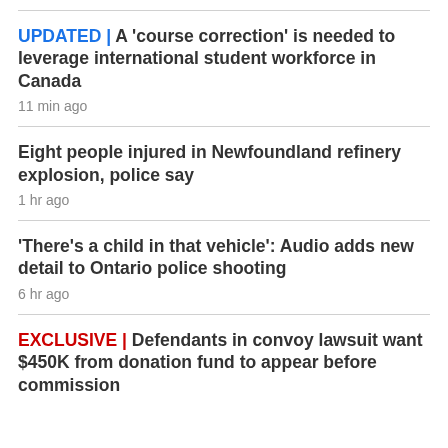UPDATED | A 'course correction' is needed to leverage international student workforce in Canada
11 min ago
Eight people injured in Newfoundland refinery explosion, police say
1 hr ago
'There's a child in that vehicle': Audio adds new detail to Ontario police shooting
6 hr ago
EXCLUSIVE | Defendants in convoy lawsuit want $450K from donation fund to appear before commission